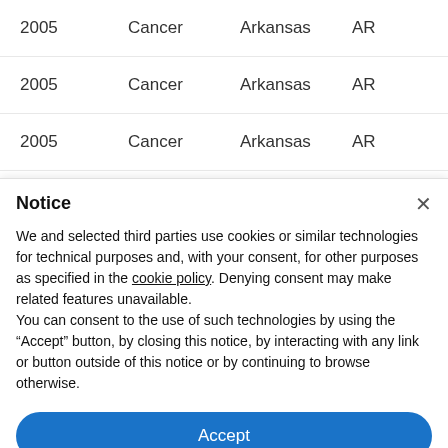| Year | Disease | State | Abbr |
| --- | --- | --- | --- |
| 2005 | Cancer | Arkansas | AR |
| 2005 | Cancer | Arkansas | AR |
| 2005 | Cancer | Arkansas | AR |
Notice
We and selected third parties use cookies or similar technologies for technical purposes and, with your consent, for other purposes as specified in the cookie policy. Denying consent may make related features unavailable.
You can consent to the use of such technologies by using the "Accept" button, by closing this notice, by interacting with any link or button outside of this notice or by continuing to browse otherwise.